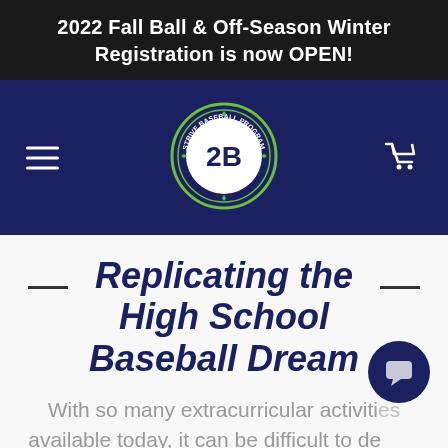2022 Fall Ball & Off-Season Winter Registration is now OPEN!
[Figure (logo): Strive Baseball Program circular logo with '2B' in center, EST. 2018, green and white on navy background]
Replicating the High School Baseball Dream
With so many extracurricular activities available today, it can be difficult to decide